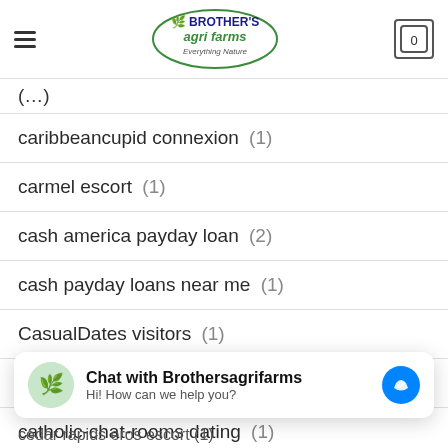Brother's Agri Farms - Everything Nature
caribbeancupid connexion (1)
carmel escort (1)
cash america payday loan (2)
cash payday loans near me (1)
CasualDates visitors (1)
catholic singles app (1)
catholic-chat-rooms dating (1)
cedar rapids eros escort (1)